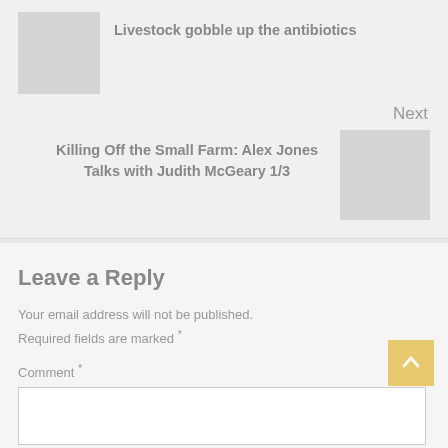[Figure (photo): Gray placeholder thumbnail for previous article]
Livestock gobble up the antibiotics
Next
Killing Off the Small Farm: Alex Jones Talks with Judith McGeary 1/3
[Figure (photo): Gray placeholder thumbnail for next article]
Leave a Reply
Your email address will not be published. Required fields are marked *
Comment *